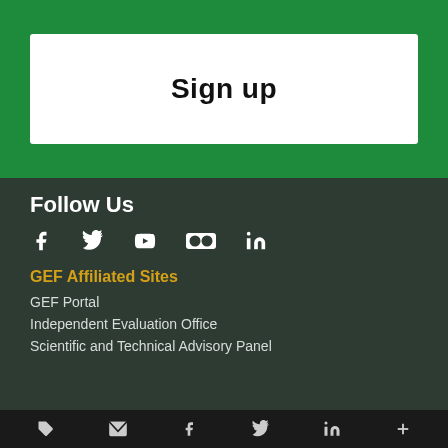Sign up
Follow Us
[Figure (infographic): Social media icons: Facebook, Twitter, YouTube, Flickr, LinkedIn]
GEF Affiliated Sites
GEF Portal
Independent Evaluation Office
Scientific and Technical Advisory Panel
Bottom navigation bar with icons: share, email, Facebook, Twitter, LinkedIn, plus